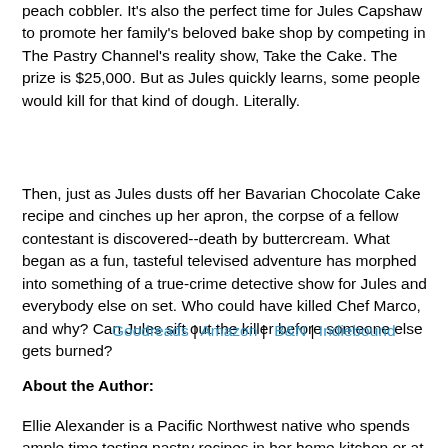peach cobbler. It's also the perfect time for Jules Capshaw to promote her family's beloved bake shop by competing in The Pastry Channel's reality show, Take the Cake. The prize is $25,000. But as Jules quickly learns, some people would kill for that kind of dough. Literally.
Then, just as Jules dusts off her Bavarian Chocolate Cake recipe and cinches up her apron, the corpse of a fellow contestant is discovered--death by buttercream. What began as a fun, tasteful televised adventure has morphed into something of a true-crime detective show for Jules and everybody else on set. Who could have killed Chef Marco, and why? Can Jules sift out the killer before someone else gets burned?
Goodreads | Amazon |  B&N | Indiebound
About the Author:
Ellie Alexander is a Pacific Northwest native who spends ample time testing pastry recipes in her home kitchen or at